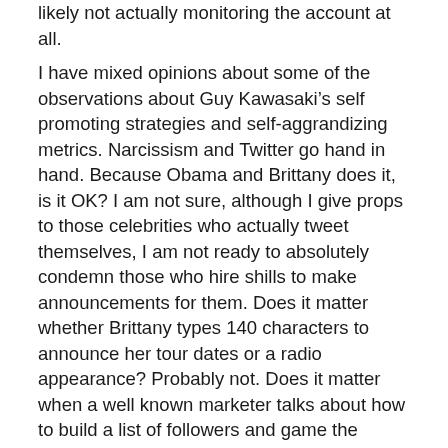likely not actually monitoring the account at all.
I have mixed opinions about some of the observations about Guy Kawasaki’s self promoting strategies and self-aggrandizing metrics. Narcissism and Twitter go hand in hand. Because Obama and Brittany does it, is it OK? I am not sure, although I give props to those celebrities who actually tweet themselves, I am not ready to absolutely condemn those who hire shills to make announcements for them. Does it matter whether Brittany types 140 characters to announce her tour dates or a radio appearance? Probably not. Does it matter when a well known marketer talks about how to build a list of followers and game the system to spam them? Absolutely.